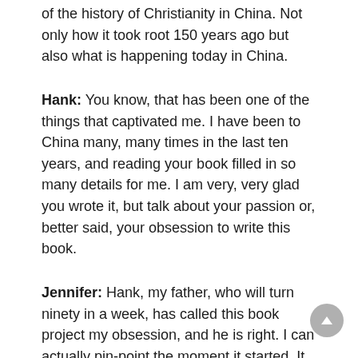of the history of Christianity in China. Not only how it took root 150 years ago but also what is happening today in China.
Hank: You know, that has been one of the things that captivated me. I have been to China many, many times in the last ten years, and reading your book filled in so many details for me. I am very, very glad you wrote it, but talk about your passion or, better said, your obsession to write this book.
Jennifer: Hank, my father, who will turn ninety in a week, has called this book project my obsession, and he is right. I can actually pin-point the moment it started. It was the morning of June 18, 1979. It was my first morning of my first trip to China.